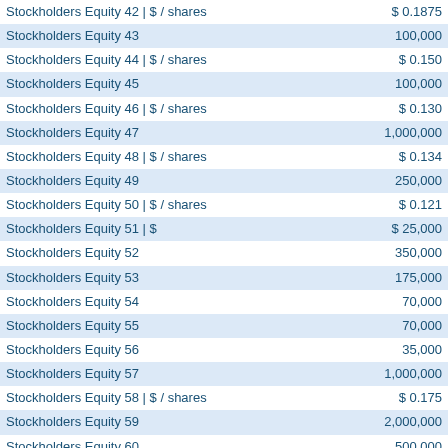| Label | Value |
| --- | --- |
| Stockholders Equity 42 | $ / shares | $ 0.1875 |
| Stockholders Equity 43 | 100,000 |
| Stockholders Equity 44 | $ / shares | $ 0.150 |
| Stockholders Equity 45 | 100,000 |
| Stockholders Equity 46 | $ / shares | $ 0.130 |
| Stockholders Equity 47 | 1,000,000 |
| Stockholders Equity 48 | $ / shares | $ 0.134 |
| Stockholders Equity 49 | 250,000 |
| Stockholders Equity 50 | $ / shares | $ 0.121 |
| Stockholders Equity 51 | $ | $ 25,000 |
| Stockholders Equity 52 | 350,000 |
| Stockholders Equity 53 | 175,000 |
| Stockholders Equity 54 | 70,000 |
| Stockholders Equity 55 | 70,000 |
| Stockholders Equity 56 | 35,000 |
| Stockholders Equity 57 | 1,000,000 |
| Stockholders Equity 58 | $ / shares | $ 0.175 |
| Stockholders Equity 59 | 2,000,000 |
| Stockholders Equity 60 | 500,000 |
| Stockholders Equity 61 | 500,000 |
| Stockholders Equity 62 | d | 45 |
| Stockholders Equity 63 | 500,000 |
| Stockholders Equity 64 | d | 90 |
| Stockholders Equity 65 | 500,000 |
| Stockholders Equity 66 | d | 135 |
| Stockholders Equity 67 | 50,000 |
| Stockholders Equity 68 | $ / shares | $ 0.135 |
| Stockholders Equity 69 | 300,000 |
| Stockholders Equity 70 | $ / shares | $ 0.198 |